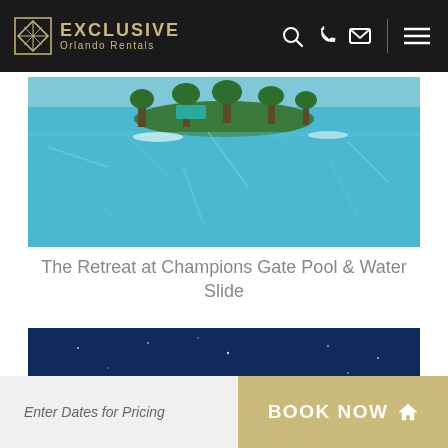EXCLUSIVE Orlando Rentals
[Figure (photo): Aerial view of The Retreat at Champions Gate pool area with crystal blue water and palm trees on a central island]
The Retreat at Champions Gate Pool & Water Slide
[Figure (photo): Night scene with fireworks/fountains against a deep blue sky with a ride or attraction structure visible]
Enter Dates for Pricing
BOOK NOW